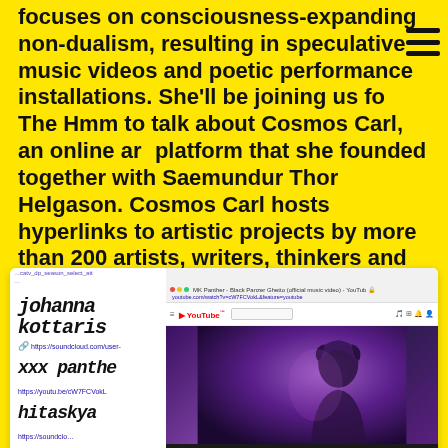focuses on consciousness-expanding non-dualism, resulting in speculative music videos and poetic performance installations. She'll be joining us for The Hmm to talk about Cosmos Carl, an online art platform that she founded together with Saemundur Thor Helgason. Cosmos Carl hosts hyperlinks to artistic projects by more than 200 artists, writers, thinkers and curators, and strives for the creation of more art in the public domain of the internet.
[Figure (screenshot): Screenshot of a browser window showing a webpage with stylized names 'johanna kottaris', 'xxx panthe', 'hitaskya' with associated soundcloud and youtube links on the left panel, and a YouTube video player on the right showing MK Panther - Black Panther Ghetto music video with a person in purple lighting.]